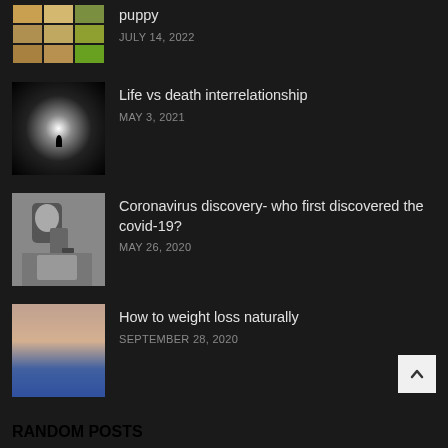[Figure (photo): Grid of corgi/dog photos thumbnail, partially cropped at top]
puppy
JULY 14, 2022
[Figure (photo): Dark tunnel with silhouetted figure walking toward bright light]
Life vs death interrelationship
MAY 3, 2021
[Figure (photo): Black and white photo of person looking through microscope]
Coronavirus discovery- who first discovered the covid-19?
MAY 26, 2020
[Figure (photo): Person measuring waist/stomach, showing weight loss, wearing jeans]
How to weight loss naturally
SEPTEMBER 28, 2020
RANDOM POSTS
[Figure (photo): Dog park thumbnail, partially visible at bottom]
Dog park near me location searching for my